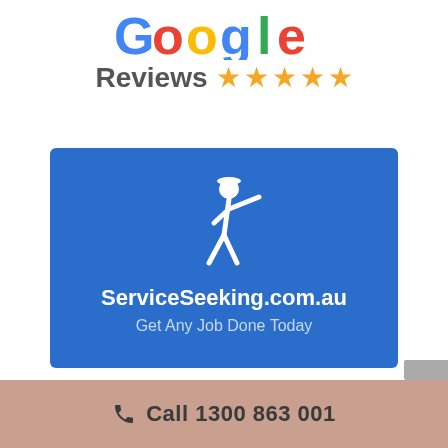[Figure (logo): Google Reviews logo with colorful Google letters partially visible at top, followed by 'Reviews' text in gray with five gold star ratings]
[Figure (logo): ServiceSeeking.com.au banner on blue background with white stick figure pointing, tagline 'Get Any Job Done Today']
Call 1300 863 001